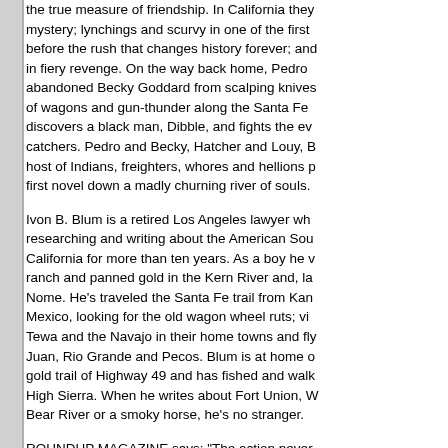the true measure of friendship. In California they mystery; lynchings and scurvy in one of the first before the rush that changes history forever; and in fiery revenge. On the way back home, Pedro abandoned Becky Goddard from scalping knives of wagons and gun-thunder along the Santa Fe discovers a black man, Dibble, and fights the ev catchers. Pedro and Becky, Hatcher and Louy, B host of Indians, freighters, whores and hellions p first novel down a madly churning river of souls.
Ivon B. Blum is a retired Los Angeles lawyer wh researching and writing about the American Sou California for more than ten years. As a boy he v ranch and panned gold in the Kern River and, la Nome. He's traveled the Santa Fe trail from Kan Mexico, looking for the old wagon wheel ruts; vi Tewa and the Navajo in their home towns and fl Juan, Rio Grande and Pecos. Blum is at home o gold trail of Highway 49 and has fished and walk High Sierra. When he writes about Fort Union, W Bear River or a smoky horse, he's no stranger.
ROUNDUP MAGAZINE says: "The action never terrific first novel by a gifted storyteller. Strong ch sense of place, and beautiful writing combine to